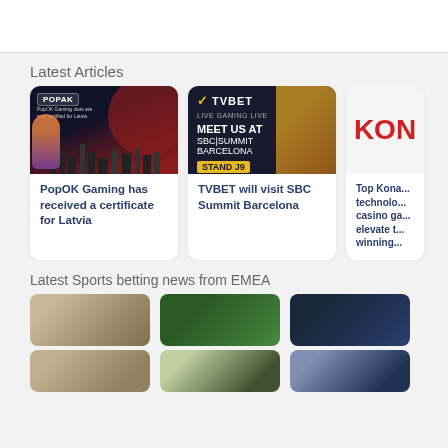Latest Articles
[Figure (illustration): PopOK Gaming promotional banner with character and Latvian skyline on dark/red background]
[Figure (illustration): TVBET promotional banner: Meet us at SBC Summit Barcelona Stand J9]
[Figure (illustration): Konami red logo on white background (partially visible)]
PopOK Gaming has received a certificate for Latvia
TVBET will visit SBC Summit Barcelona
Top Kona... technoло... casino ga... elevate t... winning...
Latest Sports betting news from EMEA
[Figure (photo): Person on laptop - sports betting]
[Figure (photo): Sports betting odds board green]
[Figure (photo): Stadium sports scene]
[Figure (photo): Laptop with betting site]
[Figure (photo): Hand with phone betting app]
[Figure (photo): Sports action photo]